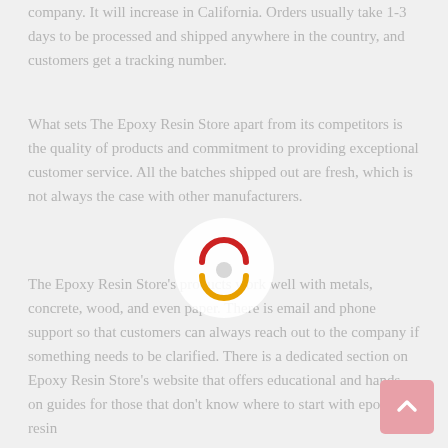company. It will increase in California. Orders usually take 1-3 days to be processed and shipped anywhere in the country, and customers get a tracking number.
What sets The Epoxy Resin Store apart from its competitors is the quality of products and commitment to providing exceptional customer service. All the batches shipped out are fresh, which is not always the case with other manufacturers.
[Figure (other): Loading spinner with red top arc, white center dot, and yellow bottom arc on a semi-transparent white circular background]
The Epoxy Resin Store's products work well with metals, concrete, wood, and even paper. There is email and phone support so that customers can always reach out to the company if something needs to be clarified. There is a dedicated section on Epoxy Resin Store's website that offers educational and hands-on guides for those that don't know where to start with epoxy resin
[Figure (other): Scroll-to-top button: pink/rose rounded square with a white upward-pointing chevron arrow]